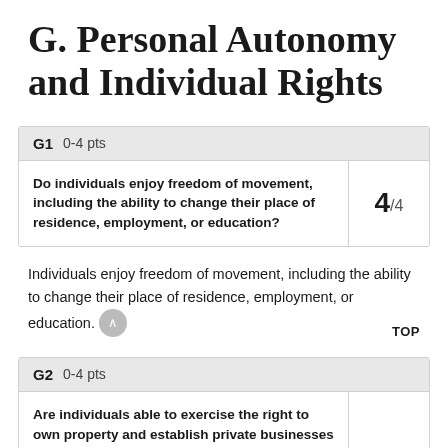G. Personal Autonomy and Individual Rights
| G1  0-4 pts |  |
| --- | --- |
| Do individuals enjoy freedom of movement, including the ability to change their place of residence, employment, or education? | 4/4 |
Individuals enjoy freedom of movement, including the ability to change their place of residence, employment, or education.
| G2  0-4 pts |  |
| --- | --- |
| Are individuals able to exercise the right to own property and establish private businesses |  |